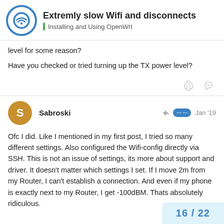Extremly slow Wifi and disconnects — Installing and Using OpenWrt
level for some reason?
Have you checked or tried turning up the TX power level?
Sabroski — Jan '19
Ofc I did. Like I mentioned in my first post, I tried so many different settings. Also configured the Wifi-config directly via SSH. This is not an issue of settings, its more about support and driver. It doesn't matter which settings I set. If I move 2m from my Router, I can't establish a connection. And even if my phone is exactly next to my Router, I get -100dBM. Thats absolutely ridiculous.
16 / 22